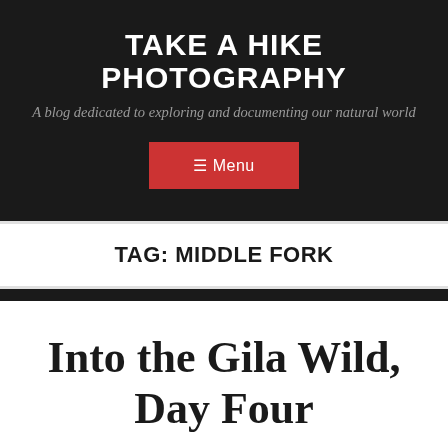TAKE A HIKE PHOTOGRAPHY
A blog dedicated to exploring and documenting our natural world
≡ Menu
TAG: MIDDLE FORK
Into the Gila Wild, Day Four